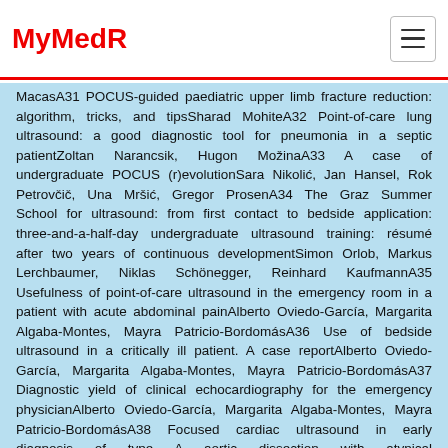MyMedR
MacasA31 POCUS-guided paediatric upper limb fracture reduction: algorithm, tricks, and tipsSharad MohiteA32 Point-of-care lung ultrasound: a good diagnostic tool for pneumonia in a septic patientZoltan Narancsik, Hugon MožinaA33 A case of undergraduate POCUS (r)evolutionSara Nikolić, Jan Hansel, Rok Petrovčič, Una Mršić, Gregor ProsenA34 The Graz Summer School for ultrasound: from first contact to bedside application: three-and-a-half-day undergraduate ultrasound training: résumé after two years of continuous developmentSimon Orlob, Markus Lerchbaumer, Niklas Schönegger, Reinhard KaufmannA35 Usefulness of point-of-care ultrasound in the emergency room in a patient with acute abdominal painAlberto Oviedo-García, Margarita Algaba-Montes, Mayra Patricio-BordomásA36 Use of bedside ultrasound in a critically ill patient. A case reportAlberto Oviedo-García, Margarita Algaba-Montes, Mayra Patricio-BordomásA37 Diagnostic yield of clinical echocardiography for the emergency physicianAlberto Oviedo-García, Margarita Algaba-Montes, Mayra Patricio-BordomásA38 Focused cardiac ultrasound in early diagnosis of type A aortic dissection with atypical presentationChun-I Pan, Hsiu-Yung Pan, Chien-Hung WuA39 Detection of imperforated hymen by point-of-care ultrasound